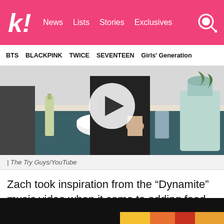k! News  Lists  Stories  Exclusives
BTS  BLACKPINK  TWICE  SEVENTEEN  Girls' Generation
[Figure (photo): Video thumbnail showing people cooking in a kitchen with a play button overlay. Kitchen has teal-green cabinets, white countertop, stand mixer visible on right.]
| The Try Guys/YouTube
Zach took inspiration from the “Dynamite” music video when it came to adding food coloring to the cake! The goal was to be able to see 7 distinct layers when cutting into it.
[Figure (photo): Bottom strip of another image, mostly dark/black with some colorful elements visible at the bottom edge.]